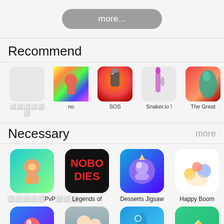[Figure (screenshot): A gray rounded 'more...' button centered at the top]
Recommend
[Figure (screenshot): Row of 5 app icons: (placeholder), no, SOS, Snaker.io!, The Great]
Necessary
more
[Figure (screenshot): Row of 4 app icons: (japanese PvP game), Legends of (Nobodies), Desserts Jigsaw, Happy Boom]
[Figure (screenshot): Row of 4 partially visible app icons at the bottom]